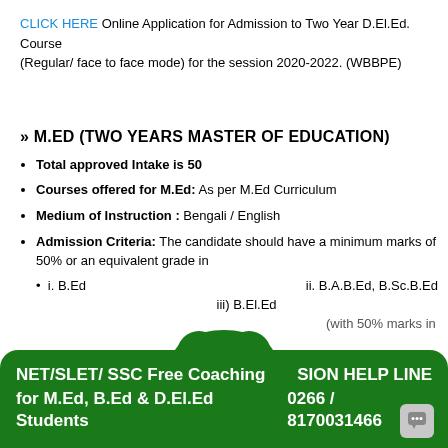CLICK HERE Online Application for Admission to Two Year D.El.Ed. Course (Regular/ face to face mode) for the session 2020-2022. (WBBPE)
» M.ED (TWO YEARS MASTER OF EDUCATION)
Total approved Intake is 50
Courses offered for M.Ed: As per M.Ed Curriculum
Medium of Instruction : Bengali / English
Admission Criteria: The candidate should have a minimum marks of 50% or an equivalent grade in
i. B.Ed   ii. B.A.B.Ed, B.Sc.B.Ed
iii) B.El.Ed
(with 50% marks in
NET/SLET/ SSC Free Coaching for M.Ed, B.Ed & D.El.Ed Students   ADMISSION HELP LINE 0266 / 8170031466